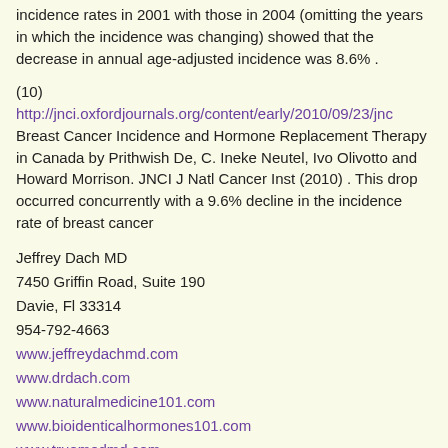incidence rates in 2001 with those in 2004 (omitting the years in which the incidence was changing) showed that the decrease in annual age-adjusted incidence was 8.6% .
(10)
http://jnci.oxfordjournals.org/content/early/2010/09/23/jnc...
Breast Cancer Incidence and Hormone Replacement Therapy in Canada by Prithwish De, C. Ineke Neutel, Ivo Olivotto and Howard Morrison. JNCI J Natl Cancer Inst (2010) . This drop occurred concurrently with a 9.6% decline in the incidence rate of breast cancer
Jeffrey Dach MD
7450 Griffin Road, Suite 190
Davie, Fl 33314
954-792-4663
www.jeffreydachmd.com
www.drdach.com
www.naturalmedicine101.com
www.bioidentichormones101.com
www.truemedmd.com
Click Here for: Dr Dach's Online Store for Pure